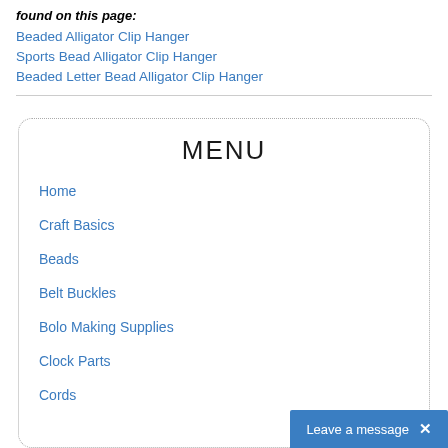found on this page:
Beaded Alligator Clip Hanger
Sports Bead Alligator Clip Hanger
Beaded Letter Bead Alligator Clip Hanger
MENU
Home
Craft Basics
Beads
Belt Buckles
Bolo Making Supplies
Clock Parts
Cords
Leave a message